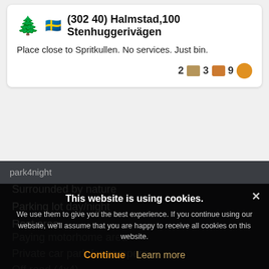🌲 🇸🇪 (302 40) Halmstad,100 Stenhuggerivägen
Place close to Spritkullen. No services. Just bin.
2 [photo] 3 [comment] 9 [smiley]
park4night
Surrounded by nature
Parking lot day/night
Rest area
Picnic area
Free motorhome area
Paying motorhome area
Private car park for campers
Off road (4x4)
On the farm (farm ...)
This website is using cookies. We use them to give you the best experience. If you continue using our website, we'll assume that you are happy to receive all cookies on this website. Continue | Learn more